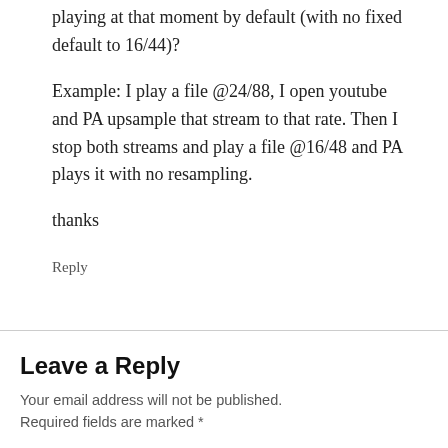playing at that moment by default (with no fixed default to 16/44)?
Example: I play a file @24/88, I open youtube and PA upsample that stream to that rate. Then I stop both streams and play a file @16/48 and PA plays it with no resampling.
thanks
Reply
Leave a Reply
Your email address will not be published. Required fields are marked *